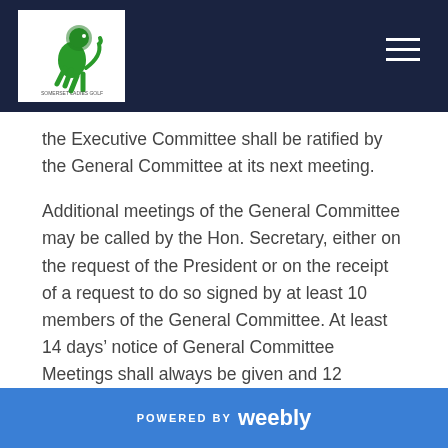Somerset Ladies Golf [logo and navigation header]
the Executive Committee shall be ratified by the General Committee at its next meeting.
Additional meetings of the General Committee may be called by the Hon. Secretary, either on the request of the President or on the receipt of a request to do so signed by at least 10 members of the General Committee. At least 14 days’ notice of General Committee Meetings shall always be given and 12 members of the committee with voting power shall form a quorum.
POWERED BY weebly